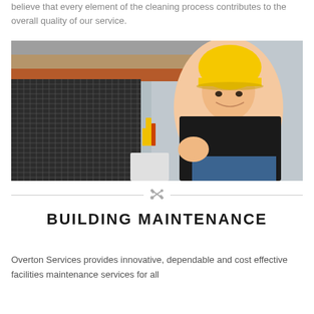believe that every element of the cleaning process contributes to the overall quality of our service.
[Figure (photo): HVAC technician wearing a yellow hard hat and black t-shirt, crouching next to an outdoor air conditioning unit, giving a thumbs up. Wiring visible near the unit.]
[Figure (other): Decorative divider with crossed wrench and screwdriver icon between two horizontal lines]
BUILDING MAINTENANCE
Overton Services provides innovative, dependable and cost effective facilities maintenance services for all